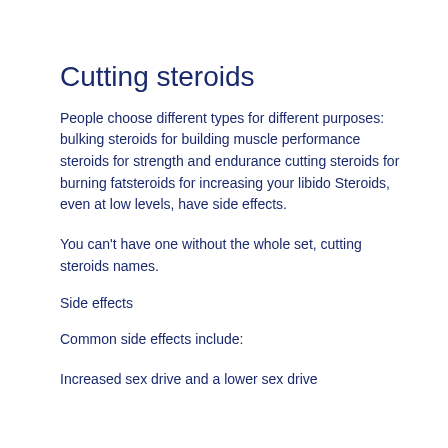Cutting steroids
People choose different types for different purposes: bulking steroids for building muscle performance steroids for strength and endurance cutting steroids for burning fatsteroids for increasing your libido Steroids, even at low levels, have side effects.
You can't have one without the whole set, cutting steroids names.
Side effects
Common side effects include:
Increased sex drive and a lower sex drive